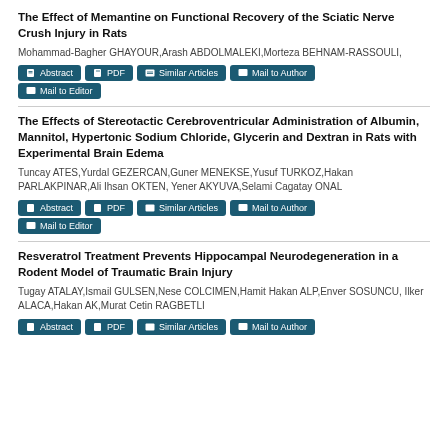The Effect of Memantine on Functional Recovery of the Sciatic Nerve Crush Injury in Rats
Mohammad-Bagher GHAYOUR,Arash ABDOLMALEKI,Morteza BEHNAM-RASSOULI,
The Effects of Stereotactic Cerebroventricular Administration of Albumin, Mannitol, Hypertonic Sodium Chloride, Glycerin and Dextran in Rats with Experimental Brain Edema
Tuncay ATES,Yurdal GEZERCAN,Guner MENEKSE,Yusuf TURKOZ,Hakan PARLAKPINAR,Ali Ihsan OKTEN, Yener AKYUVA,Selami Cagatay ONAL
Resveratrol Treatment Prevents Hippocampal Neurodegeneration in a Rodent Model of Traumatic Brain Injury
Tugay ATALAY,Ismail GULSEN,Nese COLCIMEN,Hamit Hakan ALP,Enver SOSUNCU, Ilker ALACA,Hakan AK,Murat Cetin RAGBETLI